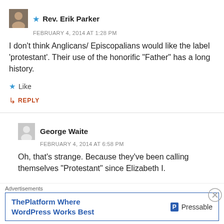★ Rev. Erik Parker
FEBRUARY 4, 2014 AT 1:28 PM
I don't think Anglicans/ Episcopalians would like the label 'protestant'. Their use of the honorific "Father" has a long history.
★ Like
↳ REPLY
George Waite
FEBRUARY 4, 2014 AT 6:58 PM
Oh, that's strange. Because they've been calling themselves "Protestant" since Elizabeth I.
Advertisements
ThePlatform Where WordPress Works Best   P Pressable